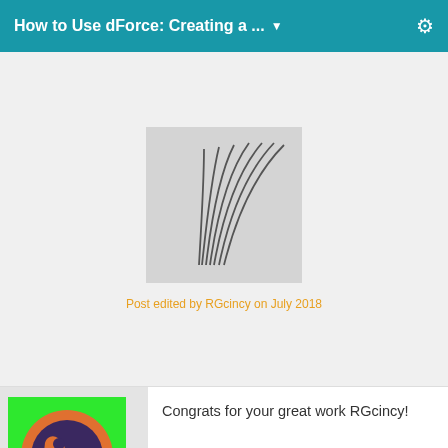How to Use dForce: Creating a ...
[Figure (illustration): Sketch-like line drawing showing curved lines converging into a central point, resembling fibers or cloth folds, on a light gray background.]
Post edited by RGcincy on July 2018
mkonjiale
Posts: 6
July 2018
Congrats for your great work RGcincy!

Would it be easy to create a camping tent?